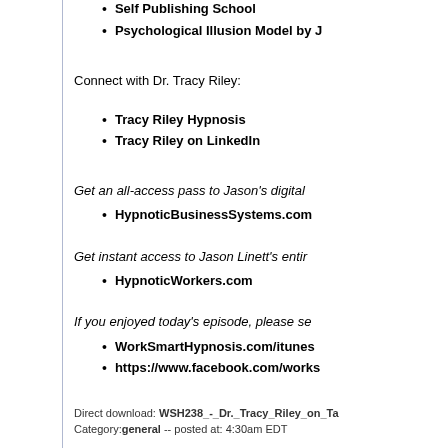Self Publishing School
Psychological Illusion Model by J
Connect with Dr. Tracy Riley:
Tracy Riley Hypnosis
Tracy Riley on LinkedIn
Get an all-access pass to Jason's digital
HypnoticBusinessSystems.com
Get instant access to Jason Linett's entir
HypnoticWorkers.com
If you enjoyed today's episode, please se
WorkSmartHypnosis.com/itunes
https://www.facebook.com/works
Direct download: WSH238_-_Dr._Tracy_Riley_on_Ta
Category: general -- posted at: 4:30am EDT